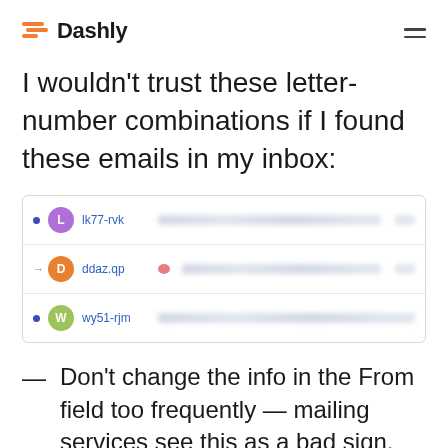Dashly
I wouldn't trust these letter-number combinations if I found these emails in my inbox:
[Figure (screenshot): Email inbox screenshot showing three rows with avatar icons and sender names: L lk77-rvk, D ddaz.qp, W wy51-rjm, with blurred email content to the right]
Don't change the info in the From field too frequently — mailing services see this as a bad sign.